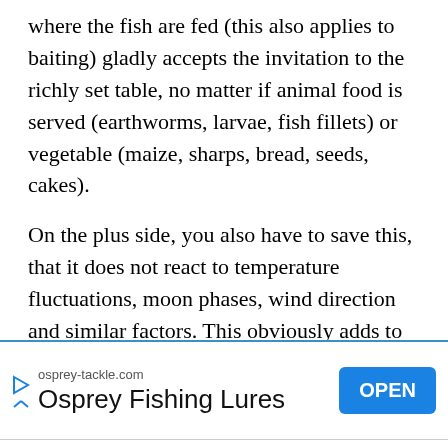where the fish are fed (this also applies to baiting) gladly accepts the invitation to the richly set table, no matter if animal food is served (earthworms, larvae, fish fillets) or vegetable (maize, sharps, bread, seeds, cakes).
On the plus side, you also have to save this, that it does not react to temperature fluctuations, moon phases, wind direction and similar factors. This obviously adds to its value for fishing. It is also necessary to emphasize its feeding activity in the early evening hours, and
[Figure (other): Advertisement banner for osprey-tackle.com — Osprey Fishing Lures with an OPEN button]
expansion.